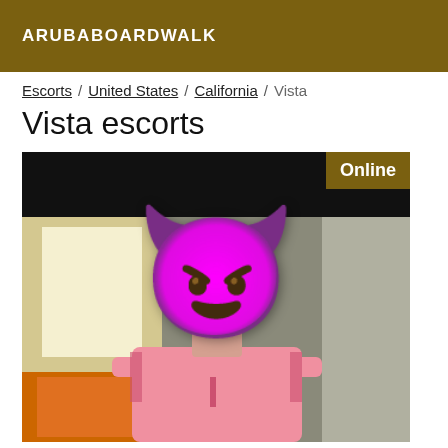ARUBABOARDWALK
Escorts / United States / California / Vista
Vista escorts
[Figure (photo): Profile photo with devil emoji covering face, person wearing pink top, with 'Online' badge in top right corner]